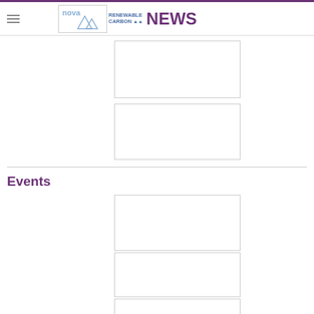nova RENEWABLE CARBON NEWS
[Figure (other): Empty image placeholder box 1]
[Figure (other): Empty image placeholder box 2]
Events
[Figure (other): Empty image placeholder box 3 (events)]
[Figure (other): Empty image placeholder box 4 (events)]
[Figure (other): Empty image placeholder box 5 (events, partial)]